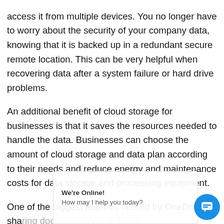access it from multiple devices. You no longer have to worry about the security of your company data, knowing that it is backed up in a redundant secure remote location. This can be very helpful when recovering data after a system failure or hard drive problems.
An additional benefit of cloud storage for businesses is that it saves the resources needed to handle the data. Businesses can choose the amount of cloud storage and data plan according to their needs and reduce energy and maintenance costs for data storage and processing equipment.
One of the biggest features offered by OneDrive is sharing documents (Word, Excel, PowerPoint, OneNote) with other users. You can create documents right from your web browser with all the same...